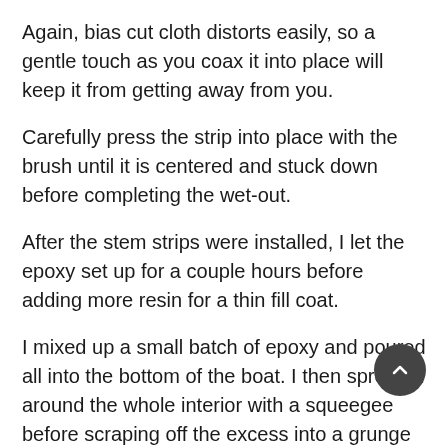Again, bias cut cloth distorts easily, so a gentle touch as you coax it into place will keep it from getting away from you.
Carefully press the strip into place with the brush until it is centered and stuck down before completing the wet-out.
After the stem strips were installed, I let the epoxy set up for a couple hours before adding more resin for a thin fill coat.
I mixed up a small batch of epoxy and poured all into the bottom of the boat. I then spread it around the whole interior with a squeegee before scraping off the excess into a grunge cup.
In the next episode I'll be wrapping fiberglass around the coaming and glassing the interior of the deck.
I hope you found this video informative. If you have any questions about the operations shown in this episode